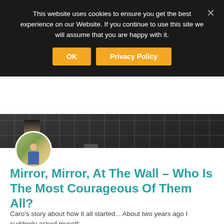This website uses cookies to ensure you get the best experience on our Website. If you continue to use this site we will assume that you are happy with it.
[Figure (photo): Dark tiled bathroom wall with a bottle of body wash and a small black container on a surface]
[Figure (photo): Circular avatar photo of a person outdoors in a garden setting]
Mirror, Mirror, At The Wall – Who Is The Most Courageous Of Them All?
Caro's story about how it all started... About two years ago I suddenly asked myself: